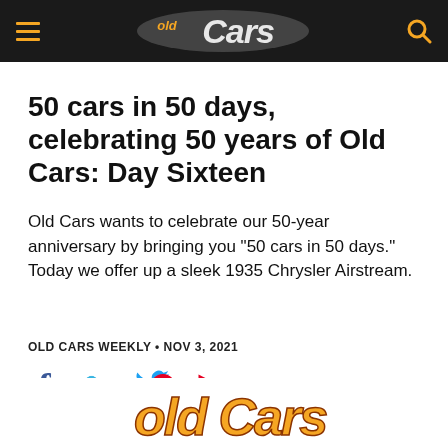Old Cars
50 cars in 50 days, celebrating 50 years of Old Cars: Day Sixteen
Old Cars wants to celebrate our 50-year anniversary by bringing you "50 cars in 50 days." Today we offer up a sleek 1935 Chrysler Airstream.
OLD CARS WEEKLY • NOV 3, 2021
[Figure (other): Social media share icons: Facebook (f), Twitter (bird), Pinterest (P)]
[Figure (logo): Old Cars logo at bottom of page]